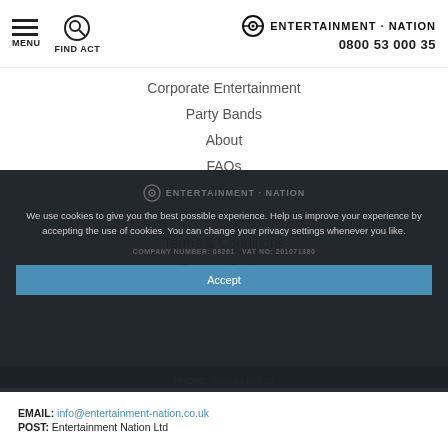Entertainment Nation | MENU | FIND ACT | 0800 53 000 35
Corporate Entertainment
Party Bands
About
FAQs
Blog
Contact
Terms & Conditions
Privacy Policy
We use cookies to give you the best possible experience. Help us improve your experience by accepting the use of cookies. You can change your privacy settings whenever you like.
COMPANY NUMBER: 08261 VAT NO: 201071380
Accept
PHONE: 0800 53 000 35
EMAIL: info@entertainment-nation.co.uk
POST: Entertainment Nation Ltd